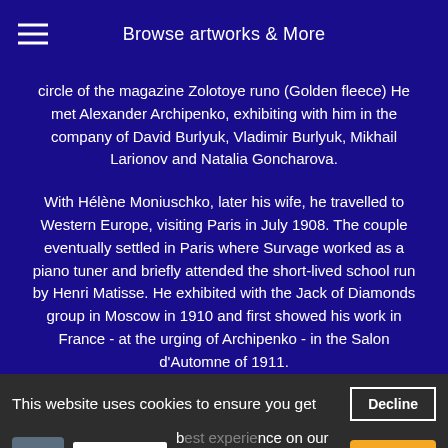Browse artworks & More
circle of the magazine Zolotoye runo (Golden fleece) He met Alexander Archipenko, exhibiting with him in the company of David Burlyuk, Vladimir Burlyuk, Mikhail Larionov and Natalia Goncharova.
With Hélène Moniuschko, later his wife, he travelled to Western Europe, visiting Paris in July 1908. The couple eventually settled in Paris where Survage worked as a piano tuner and briefly attended the short-lived school run by Henri Matisse. He exhibited with the Jack of Diamonds group in Moscow in 1910 and first showed his work in France - at the urging of Archipenko - in the Salon d'Automne of 1911.
In 1913, Survage produced abstract compositions using colour transformation as tools, articulating ideas around and between abstract images as flowing together, but he exhibited the Ink
This website uses cookies to ensure you get the best experience on our website. Learn more